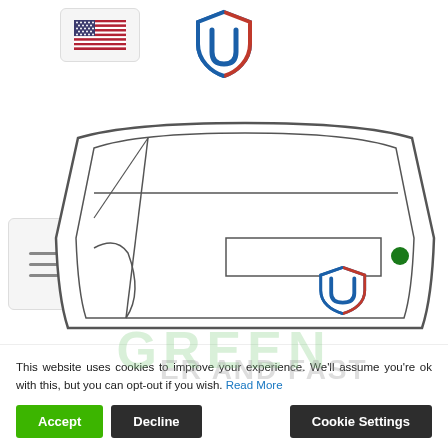[Figure (screenshot): US flag button top left corner]
[Figure (logo): Bitwarden shield logo in blue and red at top center]
[Figure (schematic): Windshield/auto glass diagram with Bitwarden logo overlay, showing glass panel with sections and a green dot indicator]
[Figure (other): Hamburger menu button on left side]
This website uses cookies to improve your experience. We'll assume you're ok with this, but you can opt-out if you wish. Read More
Accept
Decline
Cookie Settings